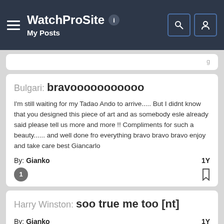WatchProSite — My Posts
Bulgari: bravooooooooooo
I'm still waiting for my Tadao Ando to arrive..... But I didnt know that you designed this piece of art and as somebody esle already said please tell us more and more !! Compliments for such a beauty...... and well done fro everything bravo bravo bravo enjoy and take care best Giancarlo
By: Gianko  1Y
Harry Winston: soo true me too [nt]
By: Gianko  1Y
Harry Winston: Woow